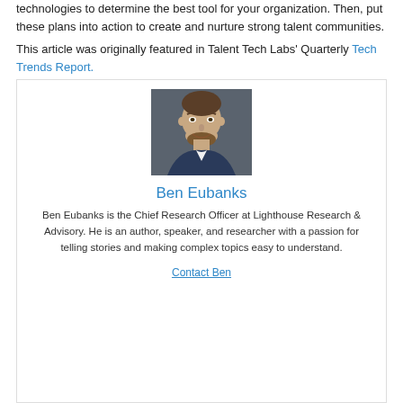technologies to determine the best tool for your organization. Then, put these plans into action to create and nurture strong talent communities.
This article was originally featured in Talent Tech Labs' Quarterly Tech Trends Report.
[Figure (photo): Headshot photo of Ben Eubanks, a man in a suit with a beard, against a dark background]
Ben Eubanks
Ben Eubanks is the Chief Research Officer at Lighthouse Research & Advisory. He is an author, speaker, and researcher with a passion for telling stories and making complex topics easy to understand.
Contact Ben